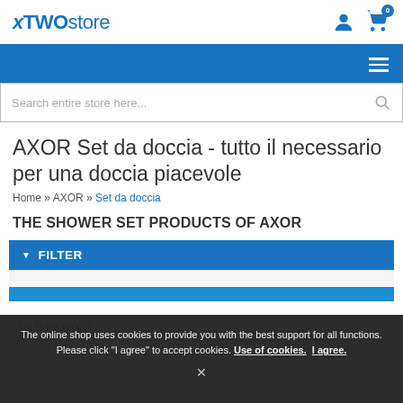xTWOstore
AXOR Set da doccia - tutto il necessario per una doccia piacevole
Home » AXOR » Set da doccia
THE SHOWER SET PRODUCTS OF AXOR
▼ FILTER
The online shop uses cookies to provide you with the best support for all functions. Please click "I agree" to accept cookies. Use of cookies. I agree.